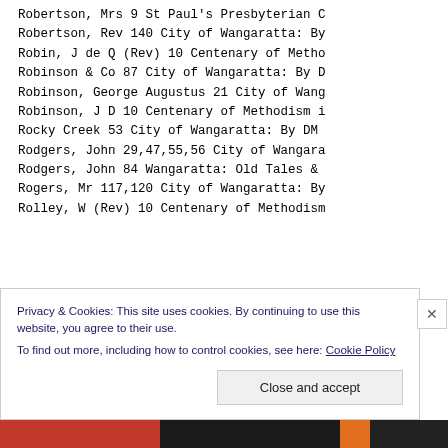Robertson, Mrs 9 St Paul's Presbyterian C
Robertson, Rev 140 City of Wangaratta: By
Robin, J de Q (Rev) 10 Centenary of Metho
Robinson & Co 87 City of Wangaratta: By D
Robinson, George Augustus 21 City of Wang
Robinson, J D 10 Centenary of Methodism i
Rocky Creek 53 City of Wangaratta: By DM
Rodgers, John 29,47,55,56 City of Wangara
Rodgers, John 84 Wangaratta: Old Tales &
Rogers, Mr 117,120 City of Wangaratta: By
Rolley, W (Rev) 10 Centenary of Methodism
Privacy & Cookies: This site uses cookies. By continuing to use this website, you agree to their use. To find out more, including how to control cookies, see here: Cookie Policy
Close and accept